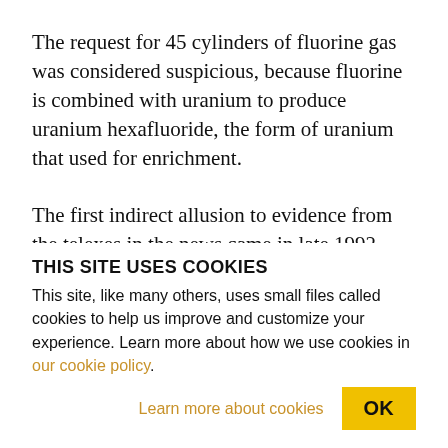The request for 45 cylinders of fluorine gas was considered suspicious, because fluorine is combined with uranium to produce uranium hexafluoride, the form of uranium that used for enrichment.
The first indirect allusion to evidence from the telexes in the news came in late 1992, when an official of the George H. W. Bush administration told The Washington Post that the administration had pushed for a complete cutoff of all nuclear-related technology
THIS SITE USES COOKIES
This site, like many others, uses small files called cookies to help us improve and customize your experience. Learn more about how we use cookies in our cookie policy.
Learn more about cookies